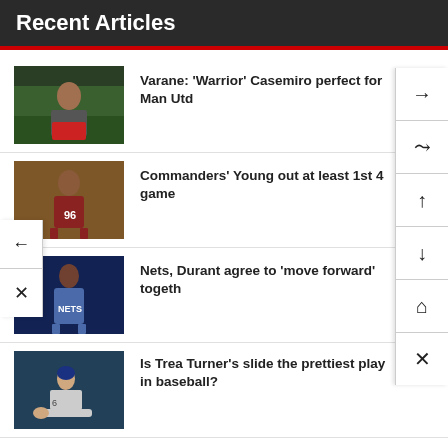Recent Articles
Varane: ‘Warrior’ Casemiro perfect for Man Utd
Commanders’ Young out at least 1st 4 game
Nets, Durant agree to ‘move forward’ together
Is Trea Turner’s slide the prettiest play in baseball?
Ranking all 131 college football teams in tiers